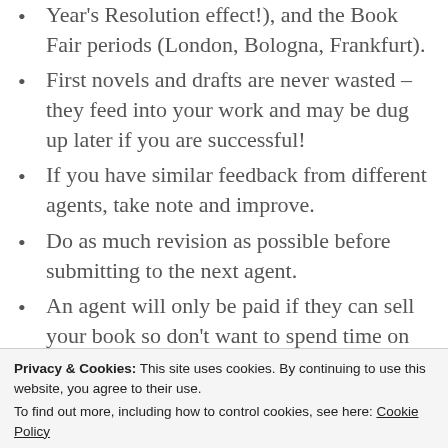Year's Resolution effect!), and the Book Fair periods (London, Bologna, Frankfurt).
First novels and drafts are never wasted – they feed into your work and may be dug up later if you are successful!
If you have similar feedback from different agents, take note and improve.
Do as much revision as possible before submitting to the next agent.
An agent will only be paid if they can sell your book so don't want to spend time on rejections – and also they don't have the time to spare. Don't
Privacy & Cookies: This site uses cookies. By continuing to use this website, you agree to their use.
To find out more, including how to control cookies, see here: Cookie Policy
If you are talented, have saleability, are